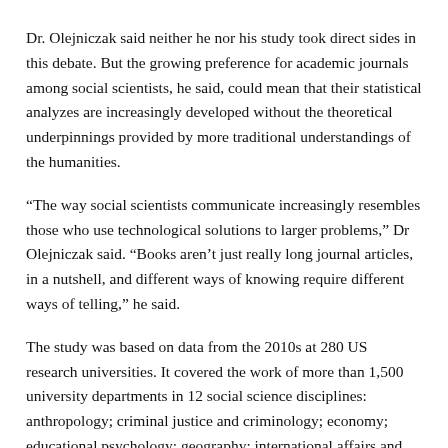Dr. Olejniczak said neither he nor his study took direct sides in this debate. But the growing preference for academic journals among social scientists, he said, could mean that their statistical analyzes are increasingly developed without the theoretical underpinnings provided by more traditional understandings of the humanities.
“The way social scientists communicate increasingly resembles those who use technological solutions to larger problems,” Dr Olejniczak said. “Books aren’t just really long journal articles, in a nutshell, and different ways of knowing require different ways of telling,” he said.
The study was based on data from the 2010s at 280 US research universities. It covered the work of more than 1,500 university departments in 12 social science disciplines: anthropology; criminal justice and criminology; economy; educational psychology; geography; international affairs and development;